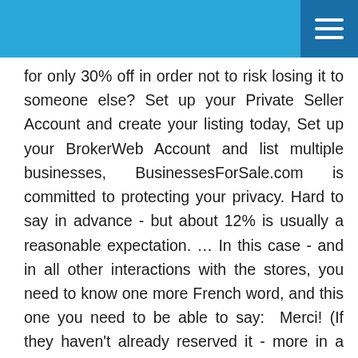for only 30% off in order not to risk losing it to someone else? Set up your Private Seller Account and create your listing today, Set up your BrokerWeb Account and list multiple businesses, BusinessesForSale.com is committed to protecting your privacy. Hard to say in advance - but about 12% is usually a reasonable expectation. … In this case - and in all other interactions with the stores, you need to know one more French word, and this one you need to be able to say:  Merci! (If they haven't already reserved it - more in a moment about how you can do that too.). The office had a complete renovation 5 years ago and is … From cafes to construction businesses, some of our most exciting business opportunities have included the makers of Big Ben's clock, a Chinese toll road, a crocodile farm in Thailand and even a tropical island! Dates for the Hermès sales vary each year, but you can check our Paris